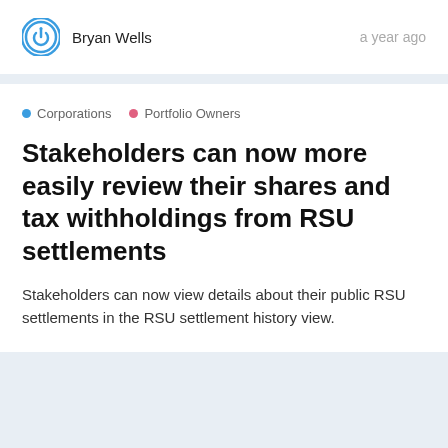Bryan Wells · a year ago
Corporations · Portfolio Owners
Stakeholders can now more easily review their shares and tax withholdings from RSU settlements
Stakeholders can now view details about their public RSU settlements in the RSU settlement history view.